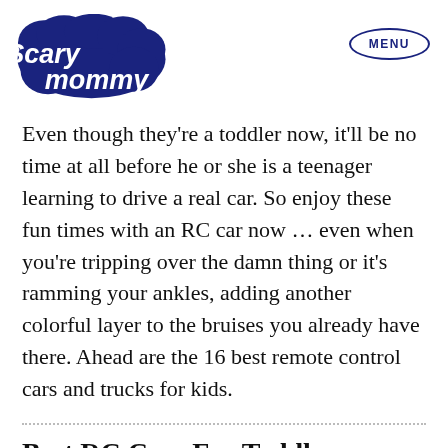[Figure (logo): Scary Mommy logo in dark navy blue bubble/cloud lettering]
Even though they’re a toddler now, it’ll be no time at all before he or she is a teenager learning to drive a real car. So enjoy these fun times with an RC car now … even when you’re tripping over the damn thing or it’s ramming your ankles, adding another colorful layer to the bruises you already have there. Ahead are the 16 best remote control cars and trucks for kids.
Best RC Cars For Toddlers